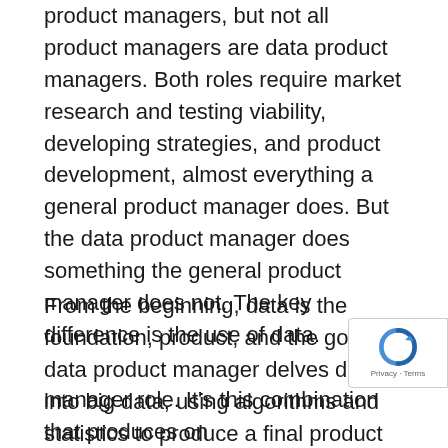product managers, but not all product managers are data product managers. Both roles require market research and testing viability, developing strategies, and product development, almost everything a general product manager does. But the data product manager does something the general product manager does not. The key difference is the use of data.
From the beginning, data is the foundation, product, and the goal. A data product manager delves deeper into big data, using algorithms and statistics to produce a final product and then analyze the data produced by the product. The position combines many roles but doesn't favor any single one. Programming, designing, engineering, and other skills are all encompassed in manager role. It's this combination that produces on